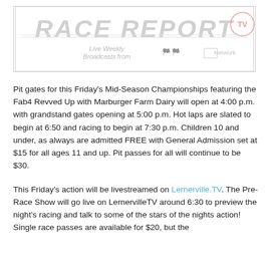[Figure (screenshot): Race Report banner/logo with text 'Live Weekly Broadcasts from' and racing network branding, light gray tones on white background]
Pit gates for this Friday's Mid-Season Championships featuring the Fab4 Revved Up with Marburger Farm Dairy will open at 4:00 p.m. with grandstand gates opening at 5:00 p.m. Hot laps are slated to begin at 6:50 and racing to begin at 7:30 p.m. Children 10 and under, as always are admitted FREE with General Admission set at $15 for all ages 11 and up. Pit passes for all will continue to be $30.
This Friday's action will be livestreamed on Lernerville.TV. The Pre-Race Show will go live on LernervilleTV around 6:30 to preview the night's racing and talk to some of the stars of the nights action! Single race passes are available for $20, but the